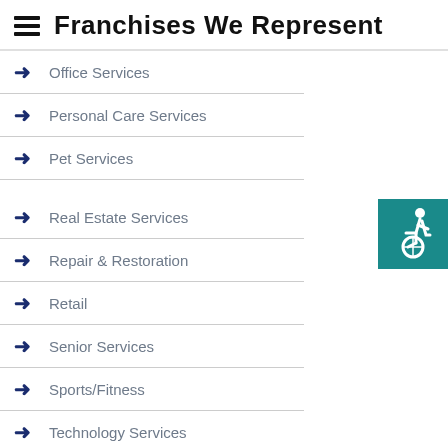Franchises We Represent
Office Services
Personal Care Services
Pet Services
Real Estate Services
Repair & Restoration
Retail
Senior Services
Sports/Fitness
Technology Services
Travel Services
Vending
[Figure (illustration): Accessibility icon: wheelchair user symbol in white on teal/dark cyan background]